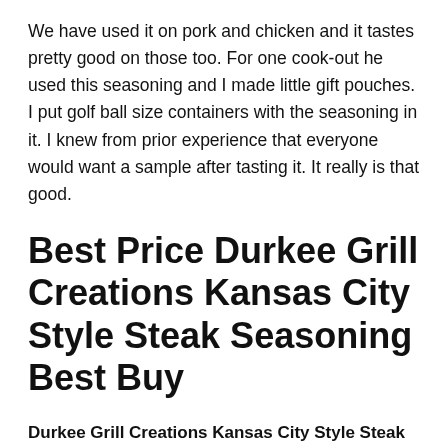We have used it on pork and chicken and it tastes pretty good on those too. For one cook-out he used this seasoning and I made little gift pouches. I put golf ball size containers with the seasoning in it. I knew from prior experience that everyone would want a sample after tasting it. It really is that good.
Best Price Durkee Grill Creations Kansas City Style Steak Seasoning Best Buy
Durkee Grill Creations Kansas City Style Steak Seasoning Day to day Meals, Dominican Model Affected primarily by Taino, Spanish and African traditions, the delicacies of the Dominican Republic is related to what can be found in other Latin American nations. The big change lies in the spiciness